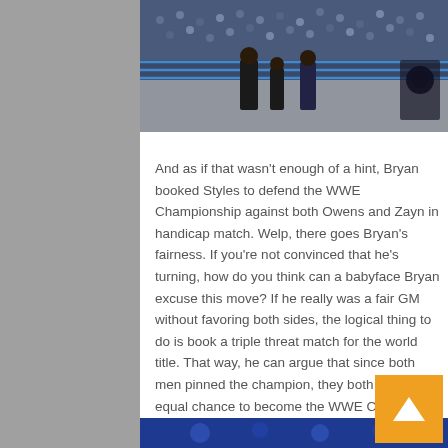[Figure (photo): WWE wrestling event photo showing figures near the ring with audience in background, blue ropes visible]
And as if that wasn't enough of a hint, Bryan booked Styles to defend the WWE Championship against both Owens and Zayn in handicap match. Welp, there goes Bryan's fairness. If you're not convinced that he's turning, how do you think can a babyface Bryan excuse this move? If he really was a fair GM without favoring both sides, the logical thing to do is book a triple threat match for the world title. That way, he can argue that since both men pinned the champion, they both get an equal chance to become the WWE Champion. And Shane would probably agree with it too, since he'll expect the friendship of the Canadian BFFs to falter once a world title is placed between them.
[Figure (photo): Partial photo at bottom, partially cropped, appears to be another WWE event scene with blue tones]